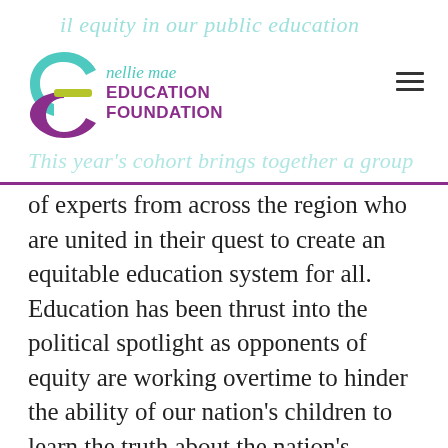Nellie Mae Education Foundation
This year's cohort brings together a group of experts from across the region who are united in their quest to create an equitable education system for all. Education has been thrust into the political spotlight as opponents of equity are working overtime to hinder the ability of our nation's children to learn the truth about the nation's founding, as well as ask the critical questions about how we can close the opportunity gaps that have been created and reinforced over the decades.
Our new cohort includes administrators,